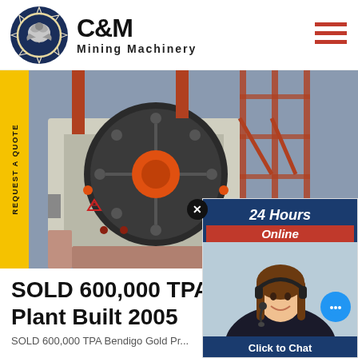[Figure (logo): C&M Mining Machinery logo with eagle and gear icon, dark blue circular emblem, bold black text 'C&M Mining Machinery']
[Figure (photo): Industrial mining equipment photo showing a large jaw crusher with orange flywheel, industrial red metal framework and machinery in background]
[Figure (illustration): Yellow vertical sidebar tab with rotated text 'REQUEST A QUOTE' in black uppercase letters]
[Figure (screenshot): Live chat popup widget showing '24 Hours Online' header in blue with red band, female customer service agent wearing headset, cyan chat bubble, 'Click to Chat' button, 'Enquiry' section at bottom]
SOLD 600,000 TPA Gold Processing Plant Built 2005
SOLD 600,000 TPA Bendigo Gold Pr...